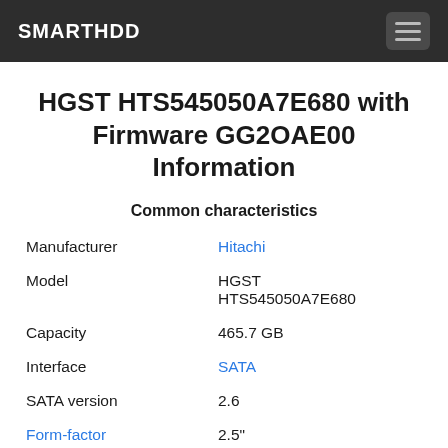SMARTHDD
HGST HTS545050A7E680 with Firmware GG2OAE00 Information
Common characteristics
|  |  |
| --- | --- |
| Manufacturer | Hitachi |
| Model | HGST HTS545050A7E680 |
| Capacity | 465.7 GB |
| Interface | SATA |
| SATA version | 2.6 |
| Form-factor | 2.5" |
| Firmware | GG2OAE00 |